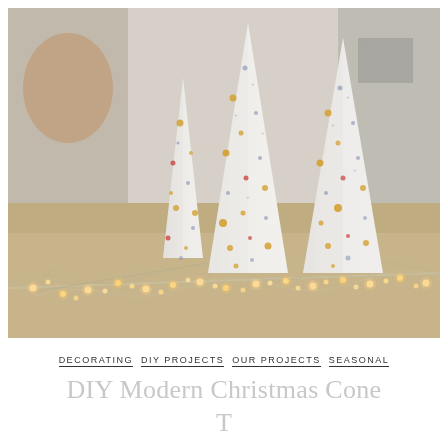[Figure (photo): Three white cone-shaped Christmas tree decorations with gold and multicolor dot embellishments, placed on a wooden table surface with silver glittery branches and warm fairy lights arranged in front of them. Blurred background with plants and decor visible.]
DECORATING   DIY PROJECTS   OUR PROJECTS   SEASONAL
DIY Modern Christmas Cone T...